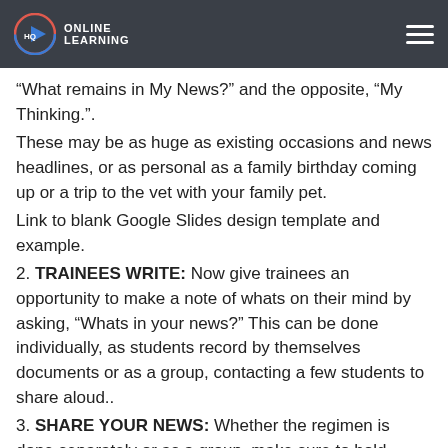ONLINE LEARNING
“What remains in My News?” and the opposite, “My Thinking.”.
These may be as huge as existing occasions and news headlines, or as personal as a family birthday coming up or a trip to the vet with your family pet.
Link to blank Google Slides design template and example.
2. TRAINEES WRITE: Now give trainees an opportunity to make a note of whats on their mind by asking, “Whats in your news?” This can be done individually, as students record by themselves documents or as a group, contacting a few students to share aloud..
3. SHARE YOUR NEWS: Whether the regimen is done separately or as a group, make sure to hold space for trainees to share their news, a connection to the news of others, feelings, wonderings, questions, etc. This can be